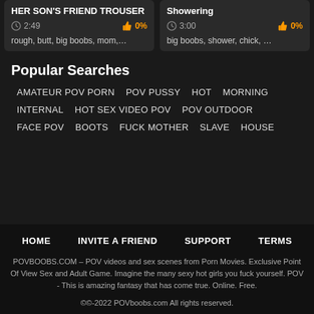HER SON'S FRIEND TROUSER | 2:49 | 0% | rough, butt, big boobs, mom,...
Showering | 3:00 | 0% | big boobs, shower, chick, ...
Popular Searches
AMATEUR POV PORN
POV PUSSY
HOT
MORNING
INTERNAL
HOT SEX VIDEO POV
POV OUTDOOR
FACE POV
BOOTS
FUCK MOTHER
SLAVE
HOUSE
HOME | INVITE A FRIEND | SUPPORT | TERMS
POVBOOBS.COM – POV videos and sex scenes from Porn Movies. Exclusive Point Of View Sex and Adult Game. Imagine the many sexy hot girls you fuck yourself. POV - This is amazing fantasy that has come true. Online. Free.
©©-2022 POVboobs.com All rights reserved.